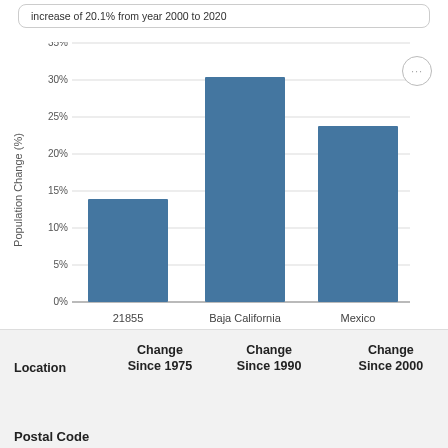increase of 20.1% from year 2000 to 2020
[Figure (bar-chart): Population Change (%)]
| Location | Change
Since 1975 | Change
Since 1990 | Change
Since 2000 |
| --- | --- | --- | --- |
Postal Code